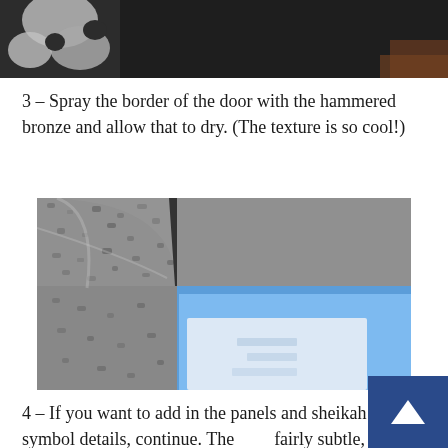[Figure (photo): Close-up photo of a puzzle piece or cutout on a dark surface, partially cropped at top of page]
3 – Spray the border of the door with the hammered bronze and allow that to dry. (The texture is so cool!)
[Figure (photo): Close-up photo of a corner of a picture frame sprayed with hammered bronze paint, showing textured metallic finish, with blue background visible inside the frame]
4 – If you want to add in the panels and sheikah symbol details, continue. They are fairly subtle, but it does add a neat detail.